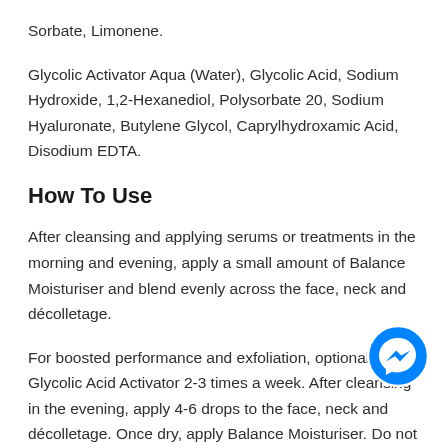Sorbate, Limonene.
Glycolic Activator Aqua (Water), Glycolic Acid, Sodium Hydroxide, 1,2-Hexanediol, Polysorbate 20, Sodium Hyaluronate, Butylene Glycol, Caprylhydroxamic Acid, Disodium EDTA.
How To Use
After cleansing and applying serums or treatments in the morning and evening, apply a small amount of Balance Moisturiser and blend evenly across the face, neck and décolletage.
For boosted performance and exfoliation, optionally use Glycolic Acid Activator 2-3 times a week. After cleansing in the evening, apply 4-6 drops to the face, neck and décolletage. Once dry, apply Balance Moisturiser. Do not